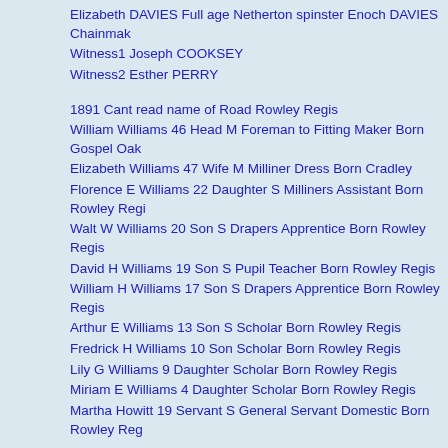Elizabeth DAVIES Full age Netherton spinster Enoch DAVIES Chainmaker
Witness1 Joseph COOKSEY
Witness2 Esther PERRY
1891 Cant read name of Road Rowley Regis
William Williams 46 Head M Foreman to Fitting Maker Born Gospel Oak
Elizabeth Williams 47 Wife M Milliner Dress Born Cradley
Florence E Williams 22 Daughter S Milliners Assistant Born Rowley Regis
Walt W Williams 20 Son S Drapers Apprentice Born Rowley Regis
David H Williams 19 Son S Pupil Teacher Born Rowley Regis
William H Williams 17 Son S Drapers Apprentice Born Rowley Regis
Arthur E Williams 13 Son S Scholar Born Rowley Regis
Fredrick H Williams 10 Son Scholar Born Rowley Regis
Lily G Williams 9 Daughter Scholar Born Rowley Regis
Miriam E Williams 4 Daughter Scholar Born Rowley Regis
Martha Howitt 19 Servant S General Servant Domestic Born Rowley Regis
1901 9 Turnip ? Road Rowley Regis
William Williams Head M 56 Foreman Iron Tibe Works Born Gosel Oak
Elizabeth Williams Wife M 57 Born Cradley
Frederick H Williams Son S 20 Carpenters Apprentice Born Cradley Heath
Lily G Williams Daur 19 S Milliners Assistant Born Cradley Heath
William E Williams Son 14 S Born Blackheath
1911 Beeches Rd, Blackheath, Birmingham